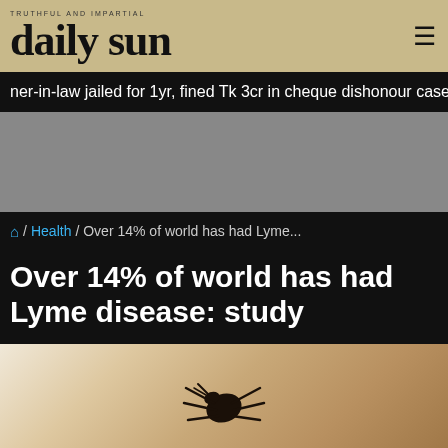daily sun
ner-in-law jailed for 1yr, fined Tk 3cr in cheque dishonour case in Meh
Over 14% of world has had Lyme disease: study
/ Health / Over 14% of world has had Lyme...
[Figure (photo): Close-up photo of a tick on human skin (finger)]